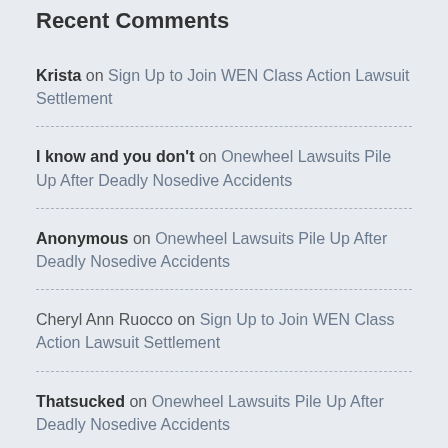Recent Comments
Krista on Sign Up to Join WEN Class Action Lawsuit Settlement
I know and you don't on Onewheel Lawsuits Pile Up After Deadly Nosedive Accidents
Anonymous on Onewheel Lawsuits Pile Up After Deadly Nosedive Accidents
Cheryl Ann Ruocco on Sign Up to Join WEN Class Action Lawsuit Settlement
Thatsucked on Onewheel Lawsuits Pile Up After Deadly Nosedive Accidents
Categories